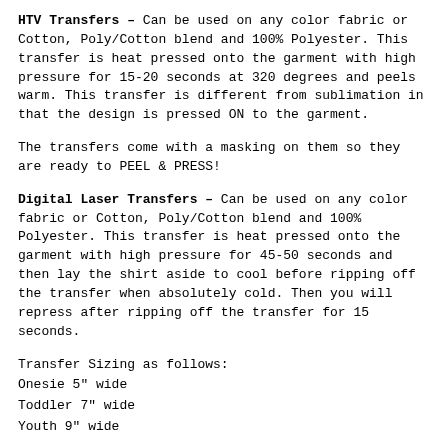HTV Transfers – Can be used on any color fabric or Cotton, Poly/Cotton blend and 100% Polyester. This transfer is heat pressed onto the garment with high pressure for 15-20 seconds at 320 degrees and peels warm. This transfer is different from sublimation in that the design is pressed ON to the garment.
The transfers come with a masking on them so they are ready to PEEL & PRESS!
Digital Laser Transfers – Can be used on any color fabric or Cotton, Poly/Cotton blend and 100% Polyester. This transfer is heat pressed onto the garment with high pressure for 45-50 seconds and then lay the shirt aside to cool before ripping off the transfer when absolutely cold. Then you will repress after ripping off the transfer for 15 seconds.
Transfer Sizing as follows:
Onesie 5" wide
Toddler 7" wide
Youth 9" wide